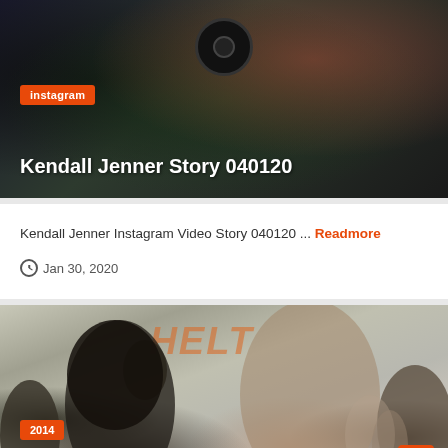[Figure (photo): Dark-toned selfie photo with person holding phone/camera, used as card background image]
instagram
Kendall Jenner Story 040120
Kendall Jenner Instagram Video Story 040120 ... Readmore
Jan 30, 2020
[Figure (photo): Outdoor crowd scene with two young women and a 'HELT' branded backdrop, event appearance photo]
2014
Feb 22nd 2014 Arrived at Nordstrom in Los Angeles